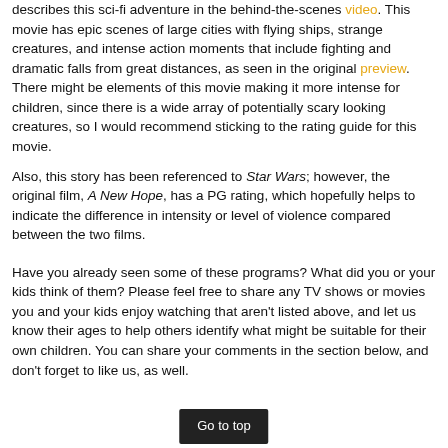describes this sci-fi adventure in the behind-the-scenes video. This movie has epic scenes of large cities with flying ships, strange creatures, and intense action moments that include fighting and dramatic falls from great distances, as seen in the original preview. There might be elements of this movie making it more intense for children, since there is a wide array of potentially scary looking creatures, so I would recommend sticking to the rating guide for this movie.
Also, this story has been referenced to Star Wars; however, the original film, A New Hope, has a PG rating, which hopefully helps to indicate the difference in intensity or level of violence compared between the two films.
Have you already seen some of these programs? What did you or your kids think of them? Please feel free to share any TV shows or movies you and your kids enjoy watching that aren't listed above, and let us know their ages to help others identify what might be suitable for their own children. You can share your comments in the section below, and don't forget to like us, as well.